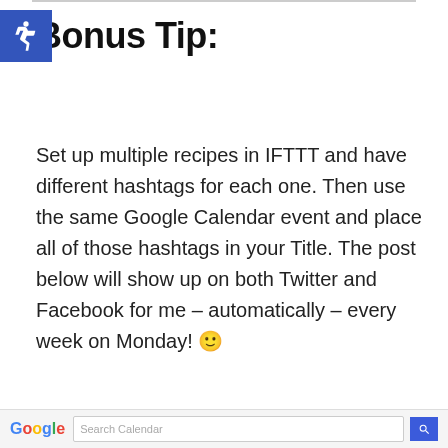Bonus Tip:
Set up multiple recipes in IFTTT and have different hashtags for each one. Then use the same Google Calendar event and place all of those hashtags in your Title. The post below will show up on both Twitter and Facebook for me – automatically – every week on Monday! 🙂
[Figure (screenshot): Google Calendar search bar at the bottom of the page]